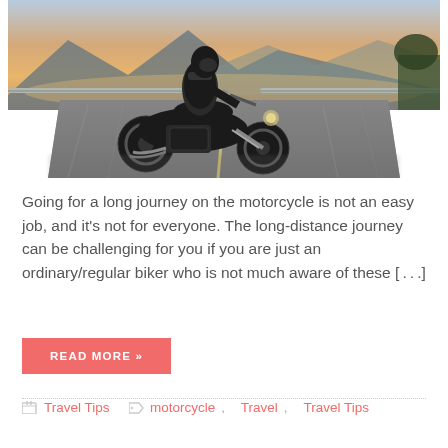[Figure (photo): A motorcyclist riding a cruiser/bobber style motorcycle on an open road at sunset, with mountains and a guardrail visible in the background. The photo has a motion-blur effect on the road.]
Going for a long journey on the motorcycle is not an easy job, and it’s not for everyone. The long-distance journey can be challenging for you if you are just an ordinary/regular biker who is not much aware of these […]
READ MORE »
Travel Tips   motorcycle, Travel, Travel Tips